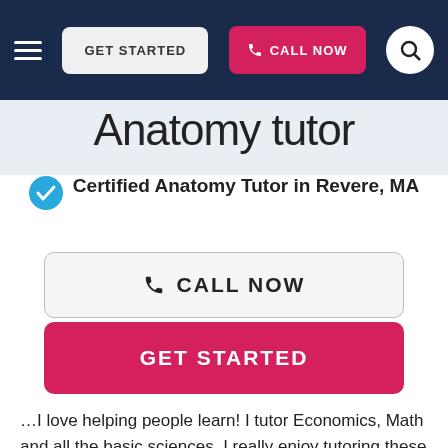GET STARTED | CALL NOW
Anatomy tutor
Certified Anatomy Tutor in Revere, MA
CALL NOW
GET STARTED
…I love helping people learn! I tutor Economics, Math and all the basic sciences. I really enjoy tutoring these subjects because my students and I work together to understand the principles underlying the problems, which helps us remember everything better and makes studying more